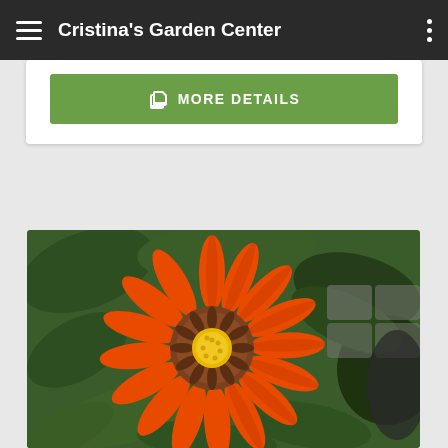Cristina's Garden Center
MORE DETAILS
[Figure (photo): Close-up photo of a vivid orange gazania flower with a yellow and brown center, surrounded by green foliage and a dark pot in the background.]